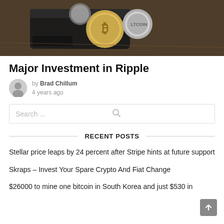[Figure (photo): Close-up photo of gold and silver cryptocurrency coins in a black leather wallet, on a wooden table background.]
Major Investment in Ripple
by Brad Chillum
4 years ago
Search ...
RECENT POSTS
Stellar price leaps by 24 percent after Stripe hints at future support
Skraps – Invest Your Spare Crypto And Fiat Change
$26000 to mine one bitcoin in South Korea and just $530 in